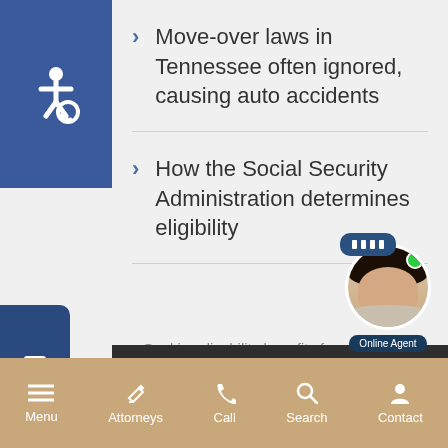[Figure (screenshot): Accessibility wheelchair icon in blue square, top left corner]
Move-over laws in Tennessee often ignored, causing auto accidents
How the Social Security Administration determines eligibility
[Figure (screenshot): TEXT US sidebar button in dark blue on left side]
[Figure (screenshot): Online Agent chat widget with avatar photo and green online dot]
[Figure (infographic): Mobile navigation bar with Menu, Attorneys, Call, Search, Contact icons on tan/gold background]